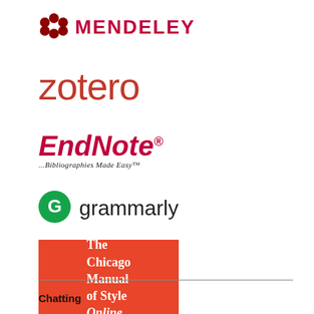[Figure (logo): Mendeley logo — red butterfly/dots icon with bold red uppercase text MENDELEY]
[Figure (logo): Zotero logo — dark red lowercase text 'zotero']
[Figure (logo): EndNote logo — bold red italic text 'EndNote' with registered trademark circle, subtitle '...Bibliographies Made Easy']
[Figure (logo): Grammarly logo — green circle with white G icon followed by text 'grammarly']
[Figure (logo): The Chicago Manual of Style Online — red/orange rectangular background with white serif text]
Chatting